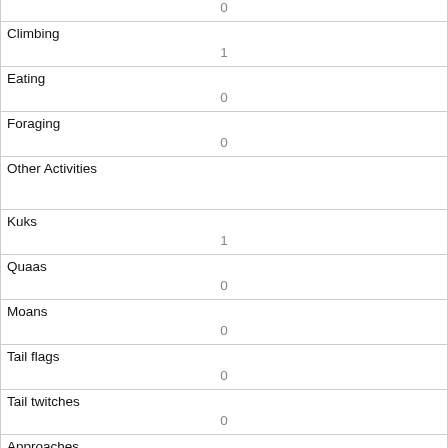| (partial row) | 0 |
| Climbing | 1 |
| Eating | 0 |
| Foraging | 0 |
| Other Activities |  |
| Kuks | 1 |
| Quaas | 0 |
| Moans | 0 |
| Tail flags | 0 |
| Tail twitches | 0 |
| Approaches | 0 |